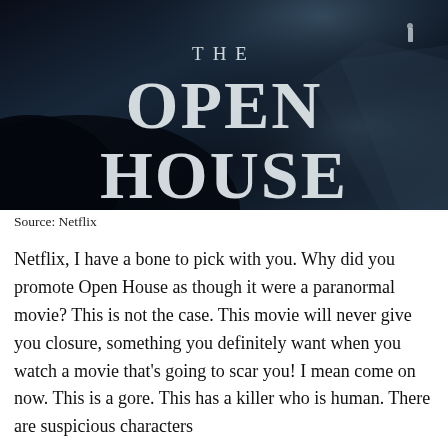[Figure (photo): Movie poster for 'The Open House' on Netflix. Dark moody background with navy/dark blue tones. Large white serif text reads 'THE OPEN HOUSE'. A distant figure and road visible in the upper right corner. Dark shadowy mass in the lower left.]
Source: Netflix
Netflix, I have a bone to pick with you. Why did you promote Open House as though it were a paranormal movie? This is not the case. This movie will never give you closure, something you definitely want when you watch a movie that's going to scar you! I mean come on now. This is a gore. This has a killer who is human. There are suspicious characters